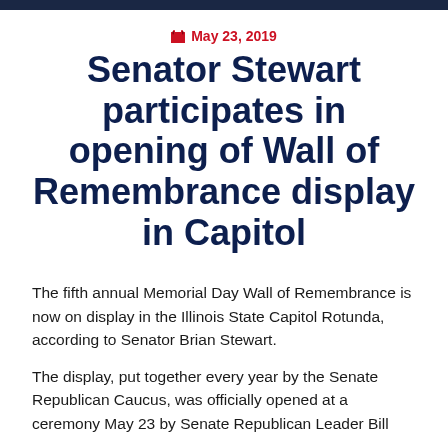May 23, 2019
Senator Stewart participates in opening of Wall of Remembrance display in Capitol
The fifth annual Memorial Day Wall of Remembrance is now on display in the Illinois State Capitol Rotunda, according to Senator Brian Stewart.
The display, put together every year by the Senate Republican Caucus, was officially opened at a ceremony May 23 by Senate Republican Leader Bill